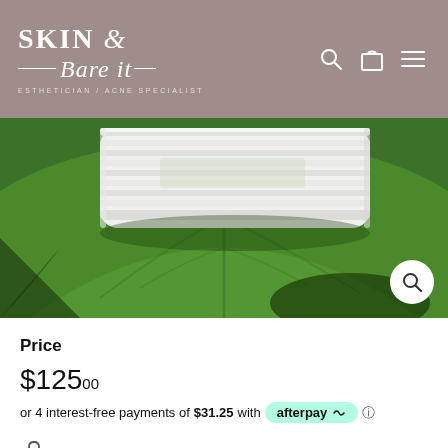SKIN & Bare it — ESTHETICIAN / ACNE SPECIALIST
[Figure (photo): White rolled towel resting on a large green tropical leaf, viewed from above on a wooden surface background.]
Price
$125.00
or 4 interest-free payments of $31.25 with afterpay
Secure payments
In stock, ready to ship